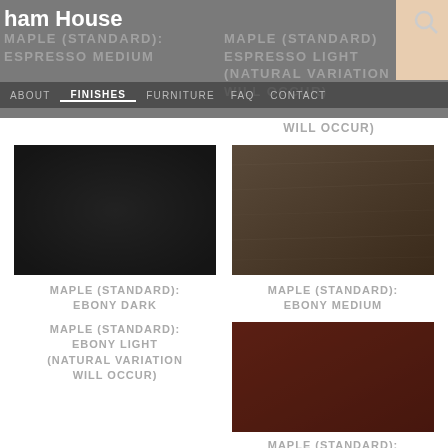ham House — FINISHES navigation
MAPLE (STANDARD): ESPRESSO MEDIUM
MAPLE (STANDARD): ESPRESSO LIGHT (NATURAL VARIATION WILL OCCUR)
[Figure (photo): Dark black wood finish swatch — Maple Standard Ebony Dark]
MAPLE (STANDARD): EBONY DARK
[Figure (photo): Dark brown textured wood finish swatch — Maple Standard Ebony Medium]
MAPLE (STANDARD): EBONY MEDIUM
MAPLE (STANDARD): EBONY LIGHT (NATURAL VARIATION WILL OCCUR)
[Figure (photo): Deep reddish-brown wood finish swatch]
MAPLE (STANDARD):